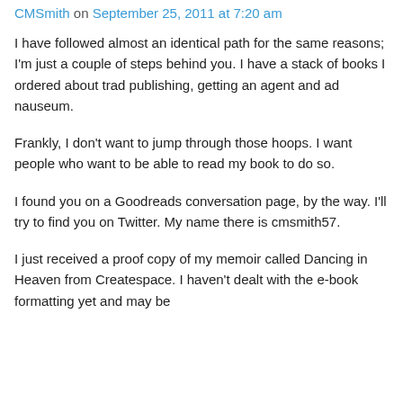CMSmith on September 25, 2011 at 7:20 am
I have followed almost an identical path for the same reasons; I'm just a couple of steps behind you. I have a stack of books I ordered about trad publishing, getting an agent and ad nauseum.
Frankly, I don't want to jump through those hoops. I want people who want to be able to read my book to do so.
I found you on a Goodreads conversation page, by the way. I'll try to find you on Twitter. My name there is cmsmith57.
I just received a proof copy of my memoir called Dancing in Heaven from Createspace. I haven't dealt with the e-book formatting yet and may be